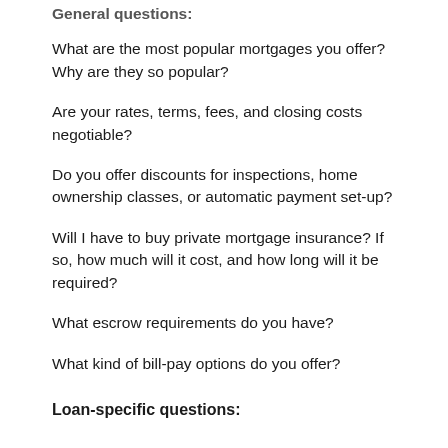General questions:
What are the most popular mortgages you offer? Why are they so popular?
Are your rates, terms, fees, and closing costs negotiable?
Do you offer discounts for inspections, home ownership classes, or automatic payment set-up?
Will I have to buy private mortgage insurance? If so, how much will it cost, and how long will it be required?
What escrow requirements do you have?
What kind of bill-pay options do you offer?
Loan-specific questions: